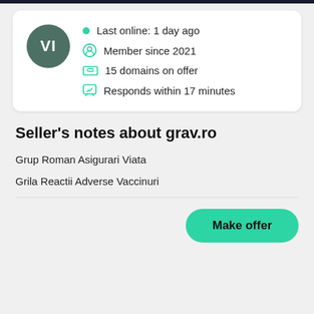[Figure (other): User profile card with avatar initials VI, online status, member info, domain count, and response time]
Last online: 1 day ago
Member since 2021
15 domains on offer
Responds within 17 minutes
Seller's notes about grav.ro
Grup Roman Asigurari Viata
Grila Reactii Adverse Vaccinuri
Make offer